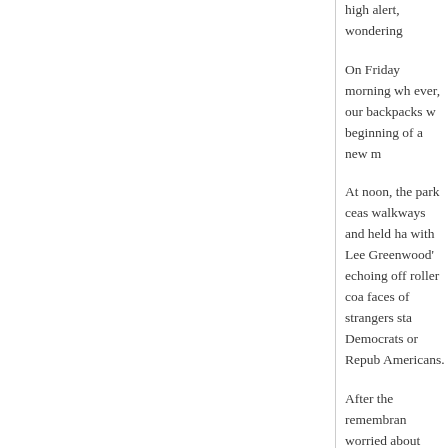high alert, wondering
On Friday morning wh ever, our backpacks w beginning of a new m
At noon, the park ceas walkways and held ha with Lee Greenwood' echoing off roller coa faces of strangers sta Democrats or Repub Americans.
After the remembran worried about sniper only four days since t planned. The day, ho the next morning.
One memory that sti any vehicles, story fro